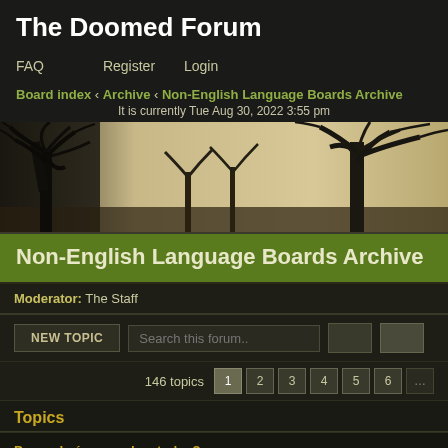The Doomed Forum
FAQ   Register   Login
Board index ‹ Archive ‹ Non-English Language Boards Archive
It is currently Tue Aug 30, 2022 3:55 pm
[Figure (photo): Sepia-toned banner image showing bare winter trees silhouetted against a pale sky]
Non-English Language Boards Archive
Moderator: The Staff
NEW TOPIC   Search this forum..
146 topics   1 2 3 4 5 6 ...
Topics
Por onde é que andam todos?